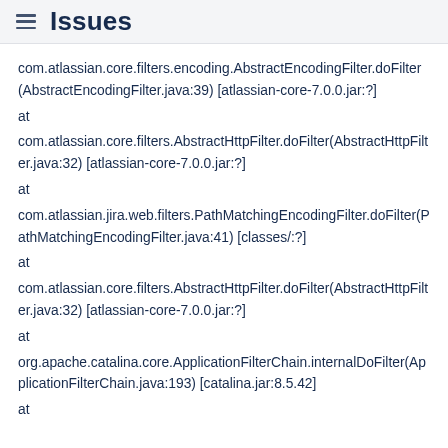Issues
com.atlassian.core.filters.encoding.AbstractEncodingFilter.doFilter(AbstractEncodingFilter.java:39) [atlassian-core-7.0.0.jar:?]
at
com.atlassian.core.filters.AbstractHttpFilter.doFilter(AbstractHttpFilter.java:32) [atlassian-core-7.0.0.jar:?]
at
com.atlassian.jira.web.filters.PathMatchingEncodingFilter.doFilter(PathMatchingEncodingFilter.java:41) [classes/:?]
at
com.atlassian.core.filters.AbstractHttpFilter.doFilter(AbstractHttpFilter.java:32) [atlassian-core-7.0.0.jar:?]
at
org.apache.catalina.core.ApplicationFilterChain.internalDoFilter(ApplicationFilterChain.java:193) [catalina.jar:8.5.42]
at